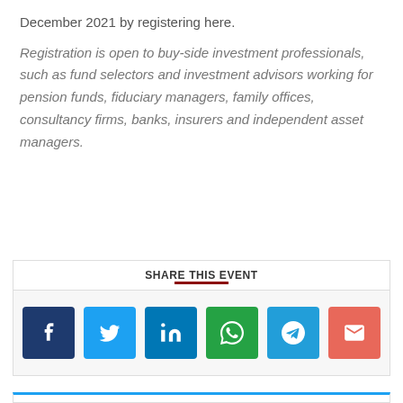December 2021 by registering here.
Registration is open to buy-side investment professionals, such as fund selectors and investment advisors working for pension funds, fiduciary managers, family offices, consultancy firms, banks, insurers and independent asset managers.
SHARE THIS EVENT
[Figure (infographic): Row of six social media share buttons: Facebook (dark blue, f icon), Twitter (light blue, bird icon), LinkedIn (blue, in icon), WhatsApp (green, phone icon), Telegram (blue, paper plane icon), Email (red-orange, envelope icon)]